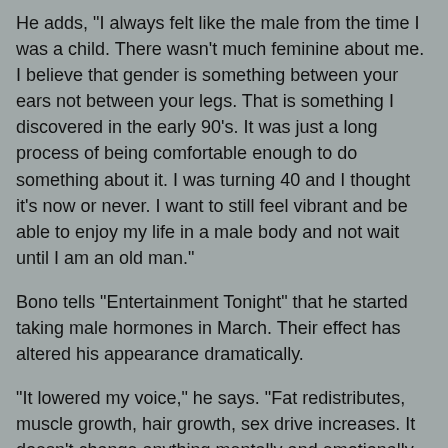He adds, "I always felt like the male from the time I was a child. There wasn't much feminine about me. I believe that gender is something between your ears not between your legs. That is something I discovered in the early 90's. It was just a long process of being comfortable enough to do something about it. I was turning 40 and I thought it's now or never. I want to still feel vibrant and be able to enjoy my life in a male body and not wait until I am an old man."
Bono tells "Entertainment Tonight" that he started taking male hormones in March. Their effect has altered his appearance dramatically.
"It lowered my voice," he says. "Fat redistributes, muscle growth, hair growth, sex drive increases. It doesn't change anything mentally and emotionally. [I'm] still not anywhere near what I will look like but really for the first time I am feeling much more comfortable with how I look physically. ... I shave about once a week now. It kind of started to come in just like peach fuzz. I always wanted to shave. It is a very natural process. For my birthday I got a lot of shaving stuff."
On having his breasts removed, Bono says, "Most people